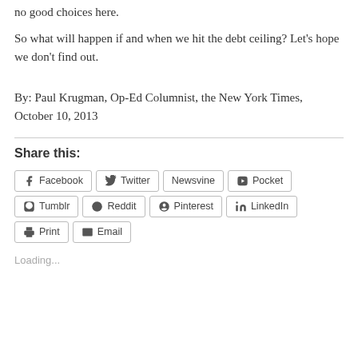no good choices here.
So what will happen if and when we hit the debt ceiling? Let's hope we don't find out.
By: Paul Krugman, Op-Ed Columnist, the New York Times, October 10, 2013
Share this:
Facebook Twitter Newsvine Pocket Tumblr Reddit Pinterest LinkedIn Print Email
Loading...